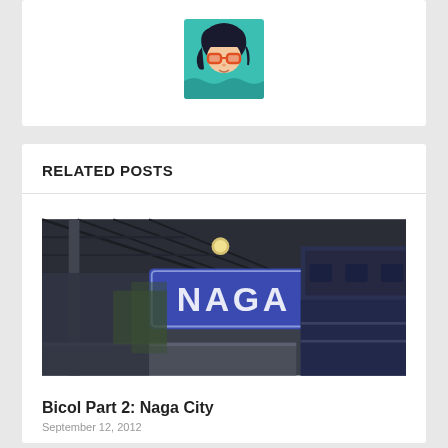[Figure (illustration): Cartoon avatar illustration of a person with dark hair, orange/red glasses, on a teal/green background]
RELATED POSTS
[Figure (photo): Photo of a train station platform with a blue sign reading NAGA, with a train visible on the right side]
Bicol Part 2: Naga City
September 12, 2012